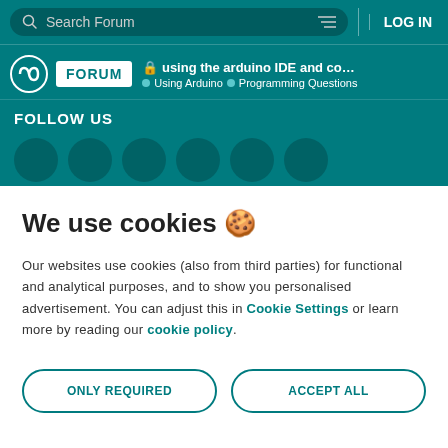Search Forum | LOG IN
FORUM | using the arduino IDE and compiler , but n... | Using Arduino | Programming Questions
FOLLOW US
We use cookies 🍪
Our websites use cookies (also from third parties) for functional and analytical purposes, and to show you personalised advertisement. You can adjust this in Cookie Settings or learn more by reading our cookie policy.
ONLY REQUIRED
ACCEPT ALL